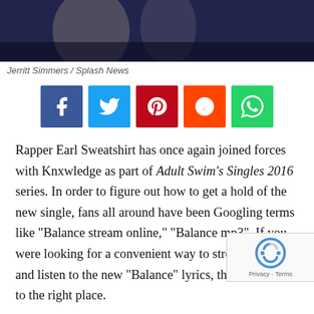[Figure (photo): Cropped photo of people, likely at a formal or public event, dark clothing visible against dark background]
Jerritt Simmers / Splash News
[Figure (infographic): Social sharing buttons: Facebook (blue), Twitter (light blue), Pinterest (red), Reddit (orange), WhatsApp (green)]
Rapper Earl Sweatshirt has once again joined forces with Knxwledge as part of Adult Swim's Singles 2016 series. In order to figure out how to get a hold of the new single, fans all around have been Googling terms like “Balance stream online,” “Balance mp3”. If you were looking for a convenient way to stream online and listen to the new “Balance” lyrics, then you came to the right place.
Earl Sweatshirt’s new song, “Balance” delivers a